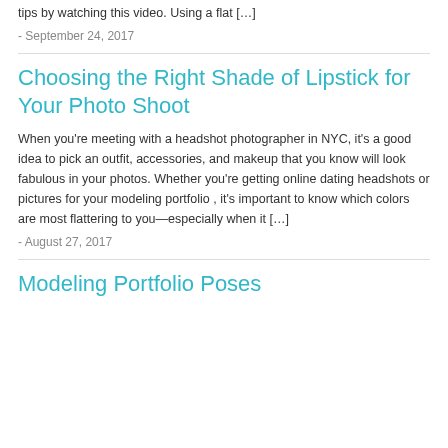tips by watching this video. Using a flat […]
- September 24, 2017
Choosing the Right Shade of Lipstick for Your Photo Shoot
When you're meeting with a headshot photographer in NYC, it's a good idea to pick an outfit, accessories, and makeup that you know will look fabulous in your photos. Whether you're getting online dating headshots or pictures for your modeling portfolio , it's important to know which colors are most flattering to you—especially when it […]
- August 27, 2017
Modeling Portfolio Poses